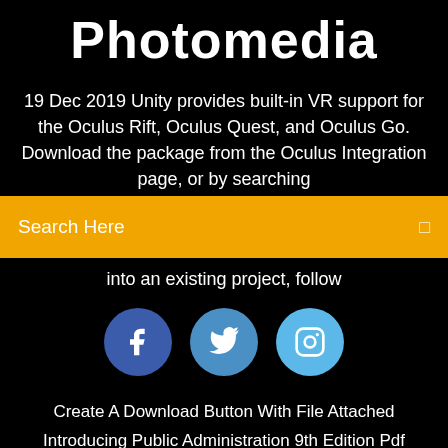Photomedia
19 Dec 2019 Unity provides built-in VR support for the Oculus Rift, Oculus Quest, and Oculus Go. Download the package from the Oculus Integration page, or by searching
Search Here
into an existing project, follow
[Figure (infographic): Three social media icons: Facebook (dark blue circle with f), Twitter (medium blue circle with bird), Instagram (light blue circle with camera outline)]
Create A Download Button With File Attached
Introducing Public Administration 9th Edition Pdf Download
How To Open Downloaded Google Doc Files